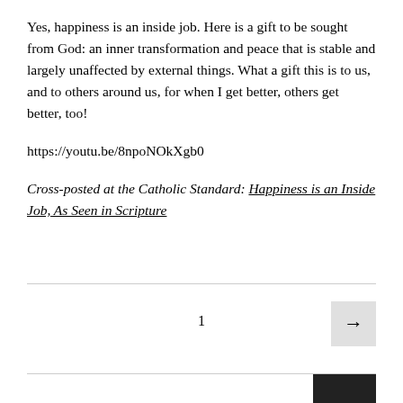Yes, happiness is an inside job. Here is a gift to be sought from God: an inner transformation and peace that is stable and largely unaffected by external things. What a gift this is to us, and to others around us, for when I get better, others get better, too!
https://youtu.be/8npoNOkXgb0
Cross-posted at the Catholic Standard: Happiness is an Inside Job, As Seen in Scripture
1